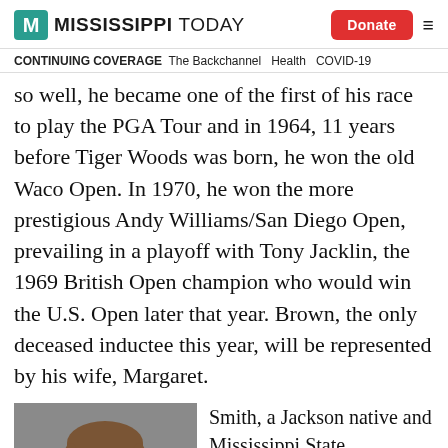MISSISSIPPI TODAY | Donate | menu
CONTINUING COVERAGE   The Backchannel   Health   COVID-19
so well, he became one of the first of his race to play the PGA Tour and in 1964, 11 years before Tiger Woods was born, he won the old Waco Open. In 1970, he won the more prestigious Andy Williams/San Diego Open, prevailing in a playoff with Tony Jacklin, the 1969 British Open champion who would win the U.S. Open later that year. Brown, the only deceased inductee this year, will be represented by his wife, Margaret.
[Figure (photo): Headshot photo of a person, appears to be a man with brown hair against a grey background]
Smith, a Jackson native and Mississippi State architecture graduate, became the